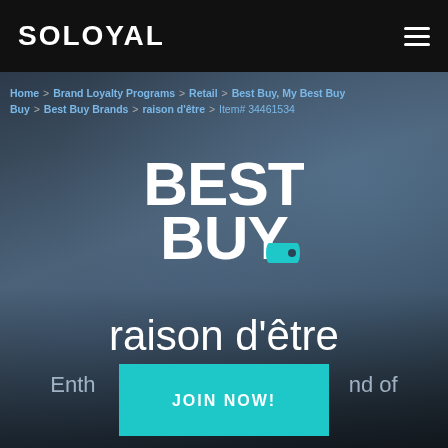SOLOYAL
Home > Brand Loyalty Programs > Retail > Best Buy, My Best Buy > Best Buy Brands > raison d'être > Item# 34461534
[Figure (logo): Best Buy logo in white block letters with teal price tag icon, on blurred denim background]
raison d'être
Enth... nd of
JOIN NOW!